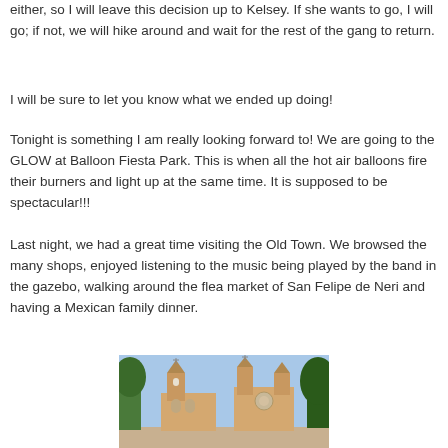either, so I will leave this decision up to Kelsey.  If she wants to go, I will go; if not, we will hike around and wait for the rest of the gang to return.
I will be sure to let you know what we ended up doing!
Tonight is something I am really looking forward to! We are going to the GLOW at Balloon Fiesta Park.  This is when all the hot air balloons fire their burners and light up at the same time.  It is supposed to be spectacular!!!
Last night, we had a great time visiting the Old Town.  We browsed the many shops, enjoyed listening to the music being played by the band in the gazebo, walking around the flea market of San Felipe de Neri and having a Mexican family dinner.
[Figure (photo): Photograph of a church with two towers, likely San Felipe de Neri church in Old Town Albuquerque, with a blue sky and trees in the background.]